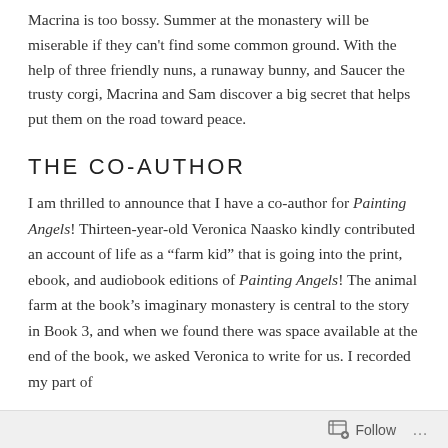Macrina is too bossy. Summer at the monastery will be miserable if they can't find some common ground. With the help of three friendly nuns, a runaway bunny, and Saucer the trusty corgi, Macrina and Sam discover a big secret that helps put them on the road toward peace.
THE CO-AUTHOR
I am thrilled to announce that I have a co-author for Painting Angels! Thirteen-year-old Veronica Naasko kindly contributed an account of life as a “farm kid” that is going into the print, ebook, and audiobook editions of Painting Angels! The animal farm at the book’s imaginary monastery is central to the story in Book 3, and when we found there was space available at the end of the book, we asked Veronica to write for us. I recorded my part of
Follow …